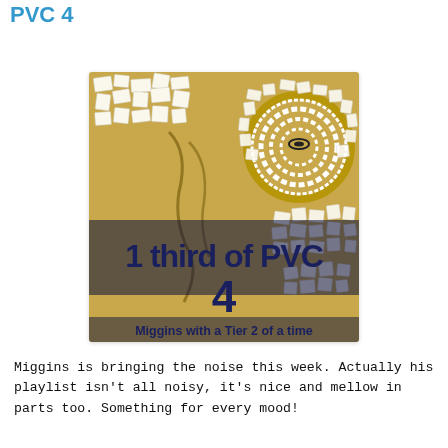PVC 4
[Figure (illustration): Album cover artwork showing a mosaic/tile artwork on a golden fabric background. Large dark navy bold text reads '1 third of PVC' and '4' with subtitle 'Miggins with a Tier 2 of a time'.]
Miggins is bringing the noise this week. Actually his playlist isn't all noisy, it's nice and mellow in parts too. Something for every mood!